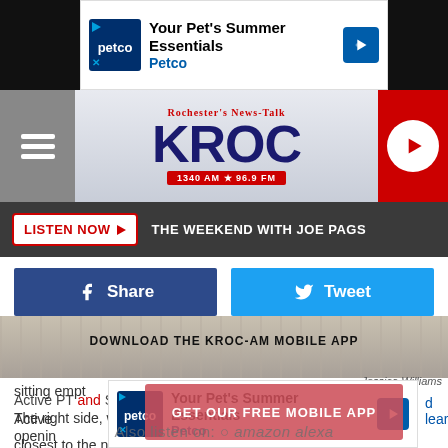[Figure (screenshot): Petco advertisement banner - Your Pet's Summer Essentials]
Rochester's News-Talk KROC 1340 AM 96.9 FM
LISTEN NOW ▶  THE WEEKEND WITH JOE PAGS
[Figure (screenshot): Facebook Share and Twitter Tweet social sharing buttons]
[Figure (photo): Outdoor scene photo strip]
DOWNLOAD THE KROC-AM MOBILE APP
Jessica Williams
Active PT and Set to Change The...
[Figure (infographic): GET OUR FREE MOBILE APP - red overlay button]
The right side, which used to be Women's Apparel and is closest to the newly re-opened CMX Chateau Theater, was sitting empty for a bit but now has several new businesses.
Also listen on:  amazon alexa
Active... opening... d learn
[Figure (screenshot): Petco advertisement banner bottom - Your Pet's Summer Essentials]